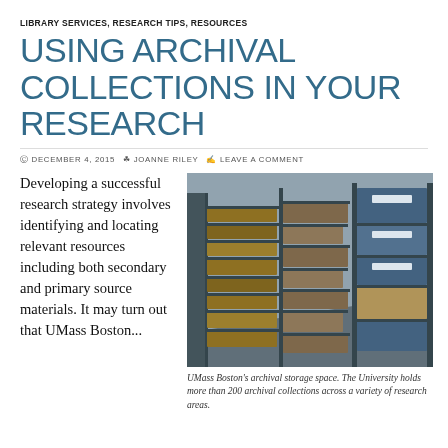LIBRARY SERVICES, RESEARCH TIPS, RESOURCES
USING ARCHIVAL COLLECTIONS IN YOUR RESEARCH
DECEMBER 4, 2015   JOANNE RILEY   LEAVE A COMMENT
Developing a successful research strategy involves identifying and locating relevant resources including both secondary and primary source materials.  It may turn out that UMass Boston...
[Figure (photo): Photo of UMass Boston's archival storage space showing shelves with archival boxes and binders.]
UMass Boston's archival storage space. The University holds more than 200 archival collections across a variety of research areas.